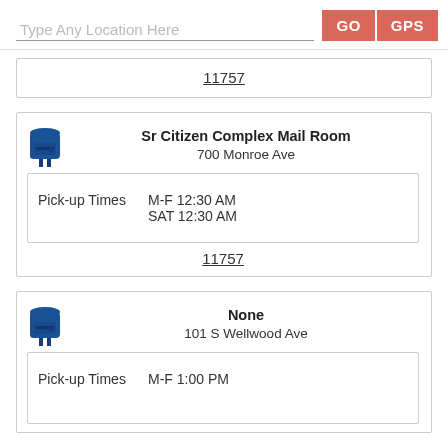[Figure (screenshot): Search bar with placeholder text 'Type Any Location Here' and two buttons: GO and GPS]
11757
Sr Citizen Complex Mail Room
700 Monroe Ave
Pick-up Times M-F 12:30 AM
SAT 12:30 AM
11757
None
101 S Wellwood Ave
Pick-up Times M-F 1:00 PM